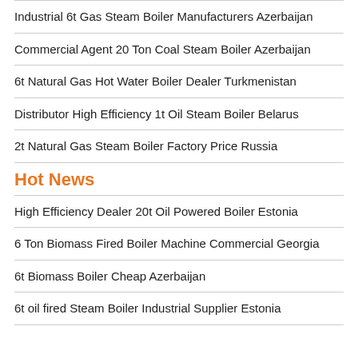Industrial 6t Gas Steam Boiler Manufacturers Azerbaijan
Commercial Agent 20 Ton Coal Steam Boiler Azerbaijan
6t Natural Gas Hot Water Boiler Dealer Turkmenistan
Distributor High Efficiency 1t Oil Steam Boiler Belarus
2t Natural Gas Steam Boiler Factory Price Russia
Hot News
High Efficiency Dealer 20t Oil Powered Boiler Estonia
6 Ton Biomass Fired Boiler Machine Commercial Georgia
6t Biomass Boiler Cheap Azerbaijan
6t oil fired Steam Boiler Industrial Supplier Estonia